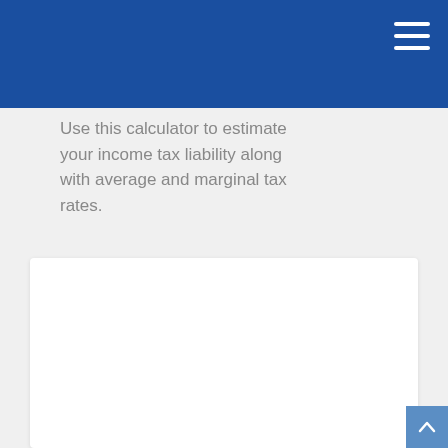Use this calculator to estimate your income tax liability along with average and marginal tax rates.
[Figure (photo): Professional portrait of three men in business suits with red ties, photographed against a dark gray background.]